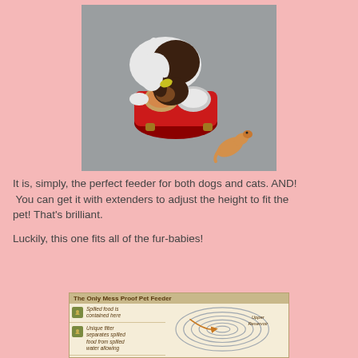[Figure (photo): A dog (long-haired, black, white and brown) eating from a red double pet feeder bowl on a gray floor, with a small stuffed animal toy nearby]
It is, simply, the perfect feeder for both dogs and cats. AND! You can get it with extenders to adjust the height to fit the pet! That's brilliant.

Luckily, this one fits all of the fur-babies!
[Figure (infographic): Infographic titled 'The Only Mess Proof Pet Feeder' showing a diagram of a spiral/coil feeder with labels: 'Spilled food is contained here', 'Unique filter separates spilled food from spilled water allowing...' on the left, and 'Upper Reservoir' label on the right with spiral coil illustration in the center]